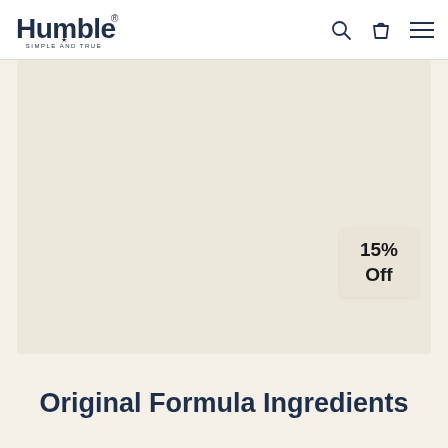[Figure (logo): Humble brand logo with text 'Humble®' and tagline 'SIMPLE AND TRUE' in dark navy]
[Figure (other): Product photo area — large light beige/tan rectangular image placeholder for a product]
15% Off
Original Formula Ingredients